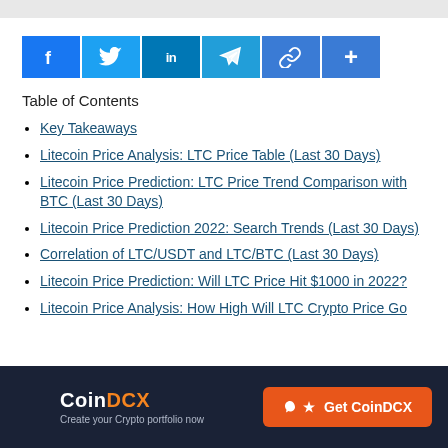[Figure (infographic): Social media share buttons: Facebook (blue), Twitter (light blue), LinkedIn (dark blue), Telegram (blue), Copy link (blue), More (blue)]
Table of Contents
Key Takeaways
Litecoin Price Analysis: LTC Price Table (Last 30 Days)
Litecoin Price Prediction: LTC Price Trend Comparison with BTC (Last 30 Days)
Litecoin Price Prediction 2022: Search Trends (Last 30 Days)
Correlation of LTC/USDT and LTC/BTC (Last 30 Days)
Litecoin Price Prediction: Will LTC Price Hit $1000 in 2022?
Litecoin Price Analysis: How High Will LTC Crypto Price Go
CoinDCX — Create your Crypto portfolio now — Get CoinDCX